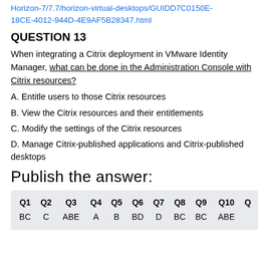Reference: https://docs.vmware.com/en/VMware-Horizon-7/7.7/horizon-virtual-desktops/GUIDD7C0150E-18CE-4012-944D-4E9AF5B28347.html
QUESTION 13
When integrating a Citrix deployment in VMware Identity Manager, what can be done in the Administration Console with Citrix resources?
A. Entitle users to those Citrix resources
B. View the Citrix resources and their entitlements
C. Modify the settings of the Citrix resources
D. Manage Citrix-published applications and Citrix-published desktops
Publish the answer:
| Q1 | Q2 | Q3 | Q4 | Q5 | Q6 | Q7 | Q8 | Q9 | Q10 | Q |
| --- | --- | --- | --- | --- | --- | --- | --- | --- | --- | --- |
| BC | C | ABE | A | B | BD | D | BC | BC | ABE |  |